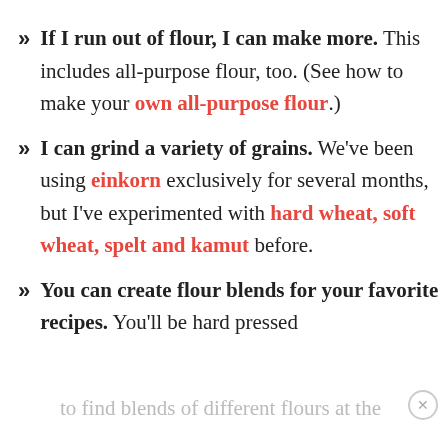If I run out of flour, I can make more. This includes all-purpose flour, too. (See how to make your own all-purpose flour.)
I can grind a variety of grains. We've been using einkorn exclusively for several months, but I've experimented with hard wheat, soft wheat, spelt and kamut before.
You can create flour blends for your favorite recipes. You'll be hard pressed to find blends of different flours at the …